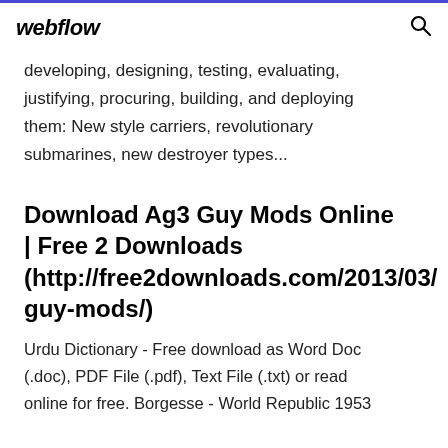webflow
developing, designing, testing, evaluating, justifying, procuring, building, and deploying them: New style carriers, revolutionary submarines, new destroyer types...
Download Ag3 Guy Mods Online | Free 2 Downloads (http://free2downloads.com/2013/03/guy-mods/)
Urdu Dictionary - Free download as Word Doc (.doc), PDF File (.pdf), Text File (.txt) or read online for free. Borgesse - World Republic 1953